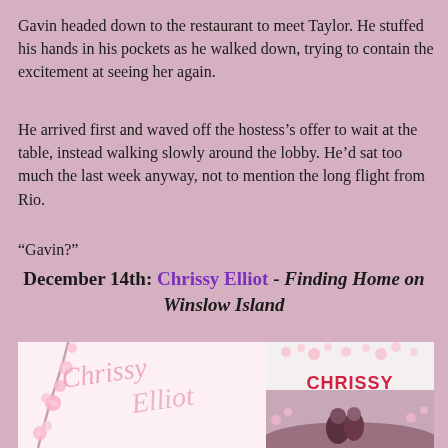Gavin headed down to the restaurant to meet Taylor. He stuffed his hands in his pockets as he walked down, trying to contain the excitement at seeing her again.
He arrived first and waved off the hostess’s offer to wait at the table, instead walking slowly around the lobby. He’d sat too much the last week anyway, not to mention the long flight from Rio.
“Gavin?”
December 14th: Chrissy Elliot - Finding Home on Winslow Island
[Figure (illustration): Two-panel book promotional image. Left panel: light pink background with a hand-drawn cursive 'Chrissy Elliot' signature in pink with cherry blossom floral decoration. Right panel: Book cover for 'Finding Home on Winslow Island' by Chrissy Elliot, showing the author name in bold red, book title in dark text, with cherry blossoms and a couple embracing at the bottom.]